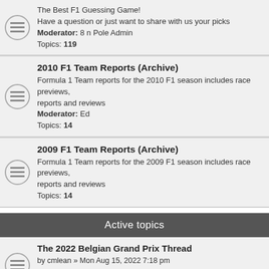The Best F1 Guessing Game! Have a question or just want to share with us your picks Moderator: 8 n Pole Admin Topics: 119
2010 F1 Team Reports (Archive) Formula 1 Team reports for the 2010 F1 season includes race previews, reports and reviews Moderator: Ed Topics: 14
2009 F1 Team Reports (Archive) Formula 1 Team reports for the 2009 F1 season includes race previews, reports and reviews Topics: 14
Active topics
The 2022 Belgian Grand Prix Thread by cmlean » Mon Aug 15, 2022 7:18 pm Last post by cmlean » Wed Aug 24, 2022 8:14 pm Replies: 1
The 2022 Hungarian Grand Prix Thread